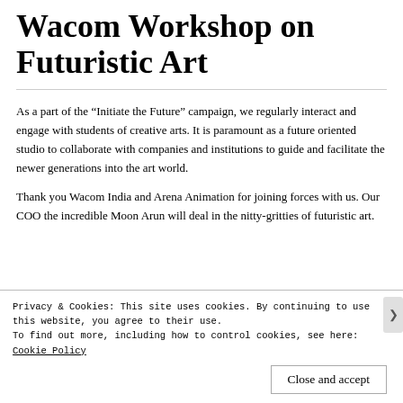Wacom Workshop on Futuristic Art
As a part of the “Initiate the Future” campaign, we regularly interact and engage with students of creative arts. It is paramount as a future oriented studio to collaborate with companies and institutions to guide and facilitate the newer generations into the art world.
Thank you Wacom India and Arena Animation for joining forces with us. Our COO the incredible Moon Arun will deal in the nitty-gritties of futuristic art.
Privacy & Cookies: This site uses cookies. By continuing to use this website, you agree to their use.
To find out more, including how to control cookies, see here: Cookie Policy
Close and accept